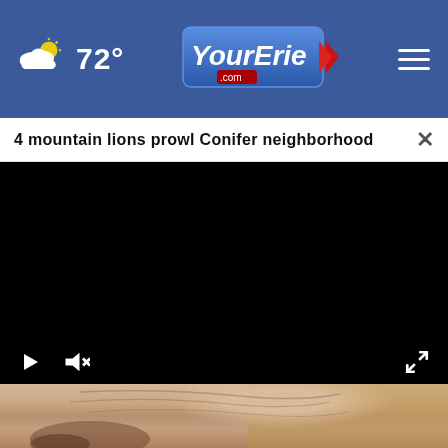72° YourErie.com
4 mountain lions prowl Conifer neighborhood
[Figure (screenshot): Video player with black screen showing playback controls: play button, mute button, and fullscreen button]
[Figure (photo): Close-up photo of a human foot/ankle area on a wooden floor]